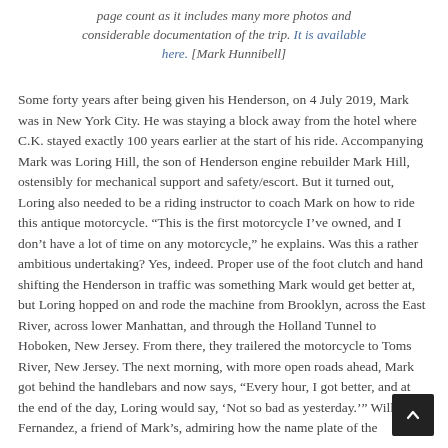page count as it includes many more photos and considerable documentation of the trip. It is available here. [Mark Hunnibell]
Some forty years after being given his Henderson, on 4 July 2019, Mark was in New York City. He was staying a block away from the hotel where C.K. stayed exactly 100 years earlier at the start of his ride. Accompanying Mark was Loring Hill, the son of Henderson engine rebuilder Mark Hill, ostensibly for mechanical support and safety/escort. But it turned out, Loring also needed to be a riding instructor to coach Mark on how to ride this antique motorcycle. “This is the first motorcycle I’ve owned, and I don’t have a lot of time on any motorcycle,” he explains. Was this a rather ambitious undertaking? Yes, indeed. Proper use of the foot clutch and hand shifting the Henderson in traffic was something Mark would get better at, but Loring hopped on and rode the machine from Brooklyn, across the East River, across lower Manhattan, and through the Holland Tunnel to Hoboken, New Jersey. From there, they trailered the motorcycle to Toms River, New Jersey. The next morning, with more open roads ahead, Mark got behind the handlebars and now says, “Every hour, I got better, and at the end of the day, Loring would say, ‘Not so bad as yesterday.’” Willy Fernandez, a friend of Mark’s, admiring how the name plate of the